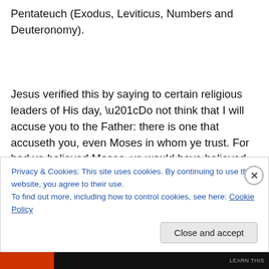Pentateuch (Exodus, Leviticus, Numbers and Deuteronomy).
Jesus verified this by saying to certain religious leaders of His day, “Do not think that I will accuse you to the Father: there is one that accuseth you, even Moses in whom ye trust. For had ye believed Moses, ye would have believed me: for he wrote of me. But if ye believe not his writings,
Privacy & Cookies: This site uses cookies. By continuing to use this website, you agree to their use.
To find out more, including how to control cookies, see here: Cookie Policy